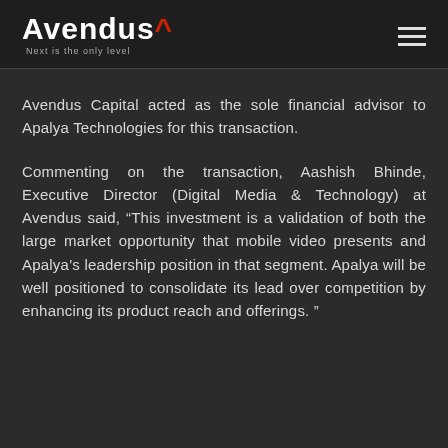[Figure (logo): Avendus logo with red caret symbol and tagline 'Next is the only level']
Avendus Capital acted as the sole financial advisor to Apalya Technologies for this transaction.
Commenting on the transaction, Aashish Bhinde, Executive Director (Digital Media & Technology) at Avendus said, “This investment is a validation of both the large market opportunity that mobile video presents and Apalya’s leadership position in that segment. Apalya will be well positioned to consolidate its lead over competition by enhancing its product reach and offerings.”